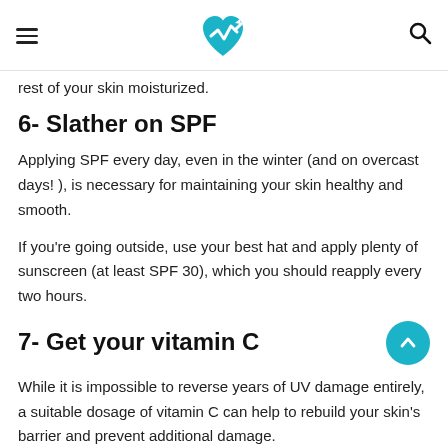Health site header with hamburger menu, logo, and search icon
rest of your skin moisturized.
6- Slather on SPF
Applying SPF every day, even in the winter (and on overcast days! ), is necessary for maintaining your skin healthy and smooth.
If you're going outside, use your best hat and apply plenty of sunscreen (at least SPF 30), which you should reapply every two hours.
7- Get your vitamin C
While it is impossible to reverse years of UV damage entirely, a suitable dosage of vitamin C can help to rebuild your skin's barrier and prevent additional damage.